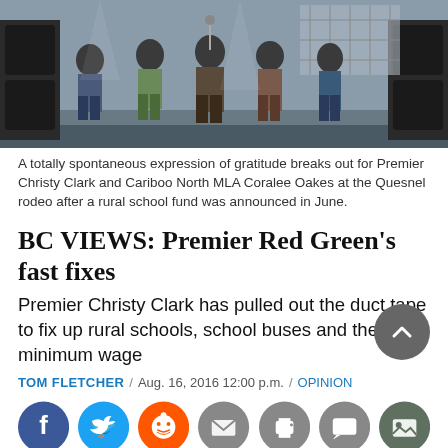[Figure (photo): Band or performers on stage at an outdoor event, several people standing with musical instruments and equipment, dark/concert atmosphere]
A totally spontaneous expression of gratitude breaks out for Premier Christy Clark and Cariboo North MLA Coralee Oakes at the Quesnel rodeo after a rural school fund was announced in June.
BC VIEWS: Premier Red Green’s fast fixes
Premier Christy Clark has pulled out the duct tape to fix up rural schools, school buses and the minimum wage
TOM FLETCHER / Aug. 16, 2016 12:00 p.m. / OPINION
[Figure (infographic): Social sharing buttons: Facebook (blue), Twitter (blue), Reddit (orange), Email (grey), Print (grey), Comment (grey), Gallery (grey)]
Comedian Steve Smith, better known as Red Green, is touring B.C. in September, reprising his popular TV series in